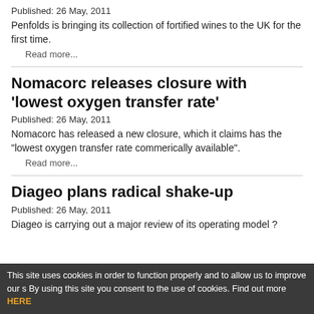Published:  26 May, 2011
Penfolds is bringing its collection of fortified wines to the UK for the first time.
Read more...
Nomacorc releases closure with 'lowest oxygen transfer rate'
Published:  26 May, 2011
Nomacorc has released a new closure, which it claims has the "lowest oxygen transfer rate commerically available".
Read more...
Diageo plans radical shake-up
Published:  26 May, 2011
Diageo is carrying out a major review of its operating model ? which will...
This site uses cookies in order to function properly and to allow us to improve our s By using this site you consent to the use of cookies. Find out more HERE